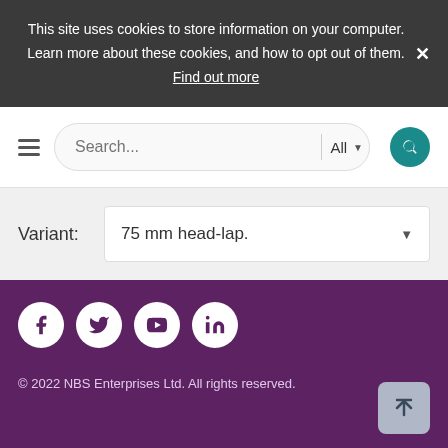This site uses cookies to store information on your computer. Learn more about these cookies, and how to opt out of them. Find out more
[Figure (screenshot): Search bar with hamburger menu, text input placeholder 'Search...', 'All' dropdown filter, and teal search button]
Variant: 75 mm head-lap.
[Figure (infographic): Social media icons (Facebook, Twitter, YouTube, LinkedIn) in white circles on purple background]
© 2022 NBS Enterprises Ltd. All rights reserved.